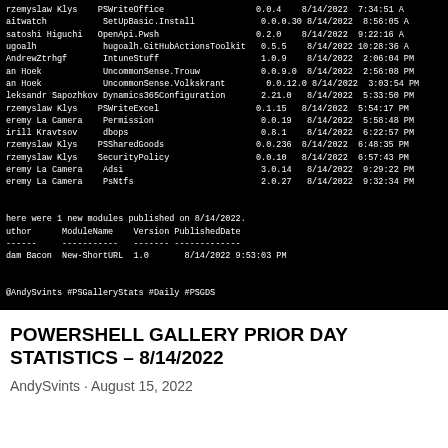[Figure (screenshot): Terminal screenshot showing PowerShell Gallery module listings with author, module name, version, and published date columns, followed by a summary of 1 new module published on 8/14/2022 (Adam Bacon, New-ShortURL, 1.0) and a hashtag line: @AndySvints #PSGalleryStats #Daily #PSGDS]
POWERSHELL GALLERY PRIOR DAY STATISTICS – 8/14/2022
AndySvints · August 15, 2022